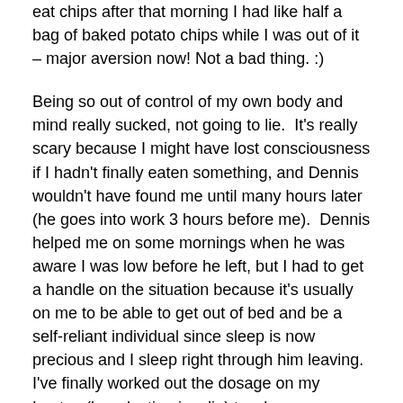eat chips after that morning I had like half a bag of baked potato chips while I was out of it – major aversion now! Not a bad thing. :)
Being so out of control of my own body and mind really sucked, not going to lie.  It's really scary because I might have lost consciousness if I hadn't finally eaten something, and Dennis wouldn't have found me until many hours later (he goes into work 3 hours before me).  Dennis helped me on some mornings when he was aware I was low before he left, but I had to get a handle on the situation because it's usually on me to be able to get out of bed and be a self-reliant individual since sleep is now precious and I sleep right through him leaving.  I've finally worked out the dosage on my Lantus (long-lasting insulin) to where my morning lows are about 75, which is a manageable number that does not render me brain-dead.  So that's